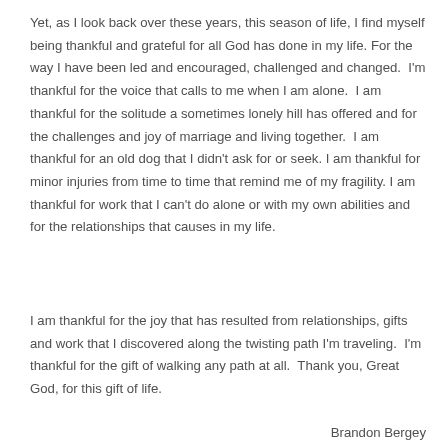Yet, as I look back over these years, this season of life, I find myself being thankful and grateful for all God has done in my life. For the way I have been led and encouraged, challenged and changed.  I'm thankful for the voice that calls to me when I am alone.  I am thankful for the solitude a sometimes lonely hill has offered and for the challenges and joy of marriage and living together.  I am thankful for an old dog that I didn't ask for or seek. I am thankful for minor injuries from time to time that remind me of my fragility. I am thankful for work that I can't do alone or with my own abilities and for the relationships that causes in my life.
I am thankful for the joy that has resulted from relationships, gifts and work that I discovered along the twisting path I'm traveling.  I'm thankful for the gift of walking any path at all.  Thank you, Great God, for this gift of life.
Brandon Bergey